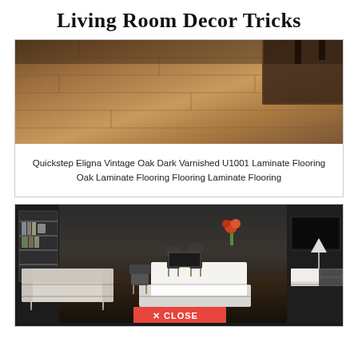Living Room Decor Tricks
[Figure (photo): Close-up photo of dark varnished oak laminate flooring with a dark rug and furniture legs visible in the corner]
Quickstep Eligna Vintage Oak Dark Varnished U1001 Laminate Flooring Oak Laminate Flooring Flooring Laminate Flooring
[Figure (photo): Interior room scene showing a modern living/workspace with a white sofa, white rug, dining chairs, desk with lamp, dark wood flooring, shelving unit, and orange flowers. A red CLOSE button overlay is visible at the bottom center.]